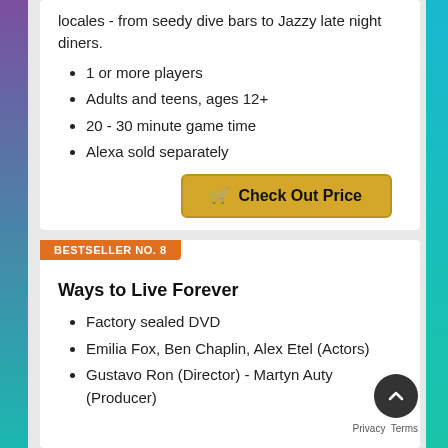locales - from seedy dive bars to Jazzy late night diners.
1 or more players
Adults and teens, ages 12+
20 - 30 minute game time
Alexa sold separately
BESTSELLER NO. 8
Ways to Live Forever
Factory sealed DVD
Emilia Fox, Ben Chaplin, Alex Etel (Actors)
Gustavo Ron (Director) - Martyn Auty (Producer)